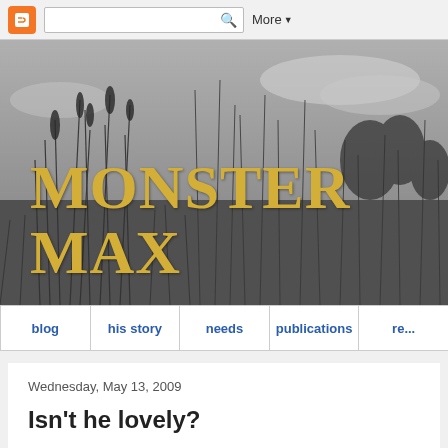[Figure (screenshot): Blogger browser toolbar with orange Blogger icon, search box with magnifying glass icon, and More dropdown button]
[Figure (photo): Black and white photo of tall grassy reeds and vegetation against a cloudy sky, serving as the blog header background. Overlaid with 'MONSTER MAX' in large gold serif text.]
MONSTER MAX
blog | his story | needs | publications | re...
Wednesday, May 13, 2009
Isn't he lovely?
[Figure (photo): Partial blog post image strip showing a dark image on the left and a tan/brown image on the right, partially cut off at the bottom of the page]